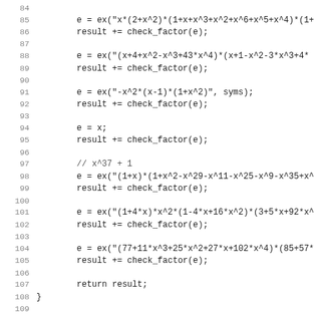Code listing lines 84–115, C/C++ source code showing exam_factor function body and start of exam_factor2